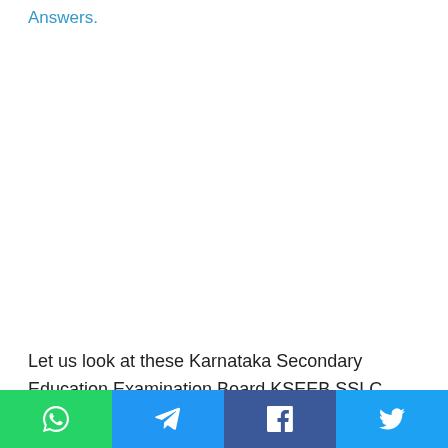Answers.
Let us look at these Karnataka Secondary Education Examination Board KSEEB SSLC Third Language Hindi Model Question Papers for Class 10 State
Social share bar: WhatsApp, Telegram, Facebook, Twitter